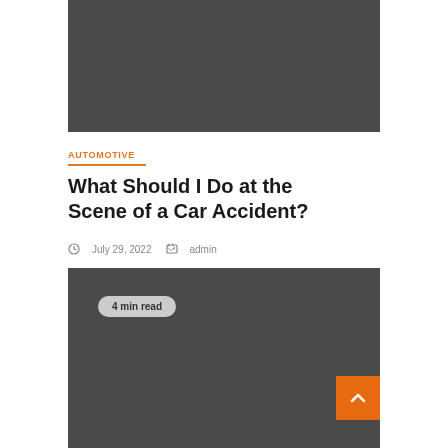[Figure (photo): Dark gray placeholder image at top of article]
AUTOMOTIVE
What Should I Do at the Scene of a Car Accident?
July 29, 2022   admin
[Figure (photo): Dark gray placeholder image with '4 min read' badge and orange back-to-top button]